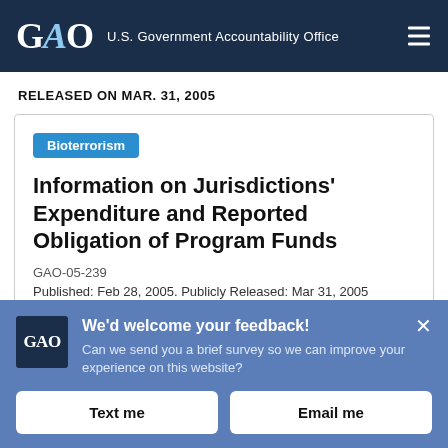GAO U.S. Government Accountability Office
RELEASED ON MAR. 31, 2005
Bioterrorism
Information on Jurisdictions' Expenditure and Reported Obligation of Program Funds
GAO-05-239
Published: Feb 28, 2005. Publicly Released: Mar 31, 2005
We'd welcome your feedback! Can we send you a brief survey so we can improve your experience on this website?
Text me
Email me